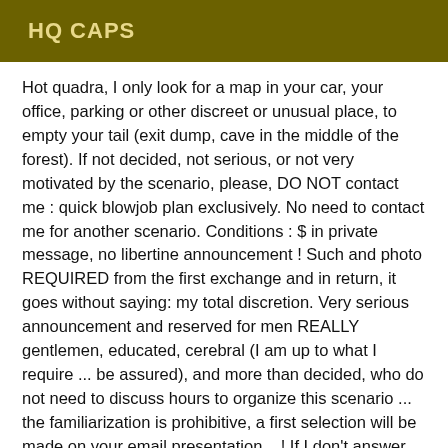HQ CAPS
Hot quadra, I only look for a map in your car, your office, parking or other discreet or unusual place, to empty your tail (exit dump, cave in the middle of the forest). If not decided, not serious, or not very motivated by the scenario, please, DO NOT contact me : quick blowjob plan exclusively. No need to contact me for another scenario. Conditions : $ in private message, no libertine announcement ! Such and photo REQUIRED from the first exchange and in return, it goes without saying: my total discretion. Very serious announcement and reserved for men REALLY gentlemen, educated, cerebral (I am up to what I require ... be assured), and more than decided, who do not need to discuss hours to organize this scenario ... the familiarization is prohibitive, a first selection will be made on your email presentation ...! If I don't answer from the first message, it's because my selection has been made. No need to insist. PS: sms language Excluded. Exchanging photos is not my thing